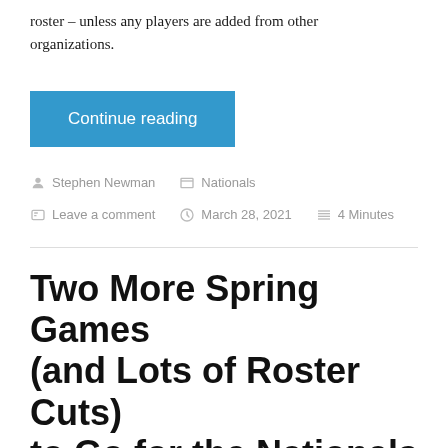roster – unless any players are added from other organizations.
Continue reading
Stephen Newman   Nationals   Leave a comment   March 28, 2021   4 Minutes
Two More Spring Games (and Lots of Roster Cuts) to Go for the Nationals
[Figure (photo): Photo of a baseball player in a Nationals cap in front of a red stadium banner showing partial text]